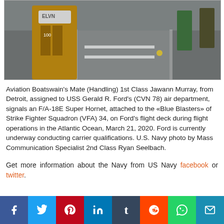[Figure (photo): Aviation Boatswain's Mate in yellow vest viewed from behind on USS Gerald R. Ford flight deck, with aircraft and personnel visible in background]
Aviation Boatswain's Mate (Handling) 1st Class Jawann Murray, from Detroit, assigned to USS Gerald R. Ford's (CVN 78) air department, signals an F/A-18E Super Hornet, attached to the «Blue Blasters» of Strike Fighter Squadron (VFA) 34, on Ford's flight deck during flight operations in the Atlantic Ocean, March 21, 2020. Ford is currently underway conducting carrier qualifications. U.S. Navy photo by Mass Communication Specialist 2nd Class Ryan Seelbach.
Get more information about the Navy from US Navy facebook or twitter.